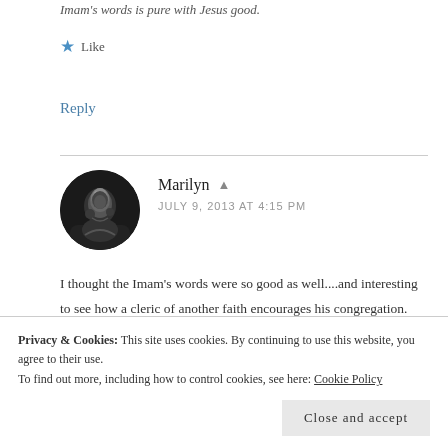Imam's words is pure with Jesus good.
★ Like
Reply
Marilyn  👤
JULY 9, 2013 AT 4:15 PM
I thought the Imam's words were so good as well....and interesting to see how a cleric of another faith encourages his congregation. I'm so glad you read this – thank you.
Privacy & Cookies: This site uses cookies. By continuing to use this website, you agree to their use.
To find out more, including how to control cookies, see here: Cookie Policy
Close and accept